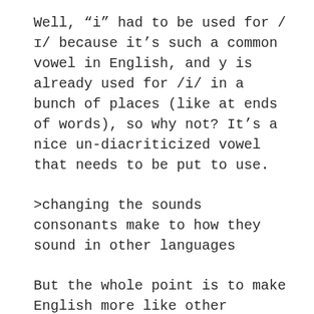Well, “i” had to be used for /ɪ/ because it’s such a common vowel in English, and y is already used for /i/ in a bunch of places (like at ends of words), so why not? It’s a nice un-diacriticized vowel that needs to be put to use.
>changing the sounds consonants make to how they sound in other languages
But the whole point is to make English more like other languages because other languages are better.
>basing reform on aesthetics